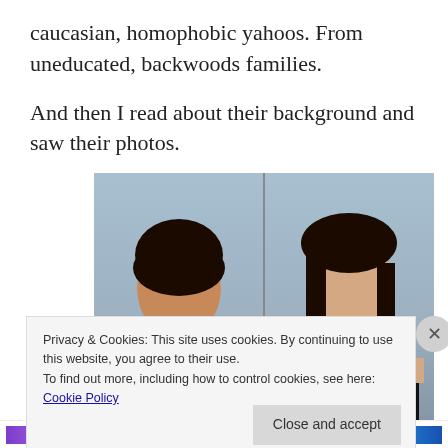caucasian, homophobic yahoos. From uneducated, backwoods families.
And then I read about their background and saw their photos.
[Figure (photo): Two side-by-side yearbook-style portrait photos: on the left, a young man with curly dark hair wearing a dark suit and tie, smiling; on the right, a young woman with long straight dark hair wearing a dark top, smiling.]
Privacy & Cookies: This site uses cookies. By continuing to use this website, you agree to their use.
To find out more, including how to control cookies, see here: Cookie Policy
Close and accept